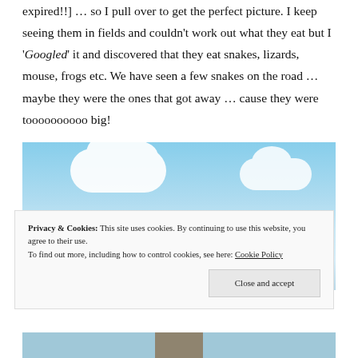expired!!] … so I pull over to get the perfect picture. I keep seeing them in fields and couldn't work out what they eat but I 'Googled' it and discovered that they eat snakes, lizards, mouse, frogs etc. We have seen a few snakes on the road … maybe they were the ones that got away … cause they were toooooooooo big!
[Figure (photo): Photo of storks in a nest on top of a pole, with a blue sky and white clouds in the background.]
Privacy & Cookies: This site uses cookies. By continuing to use this website, you agree to their use.
To find out more, including how to control cookies, see here: Cookie Policy
Close and accept